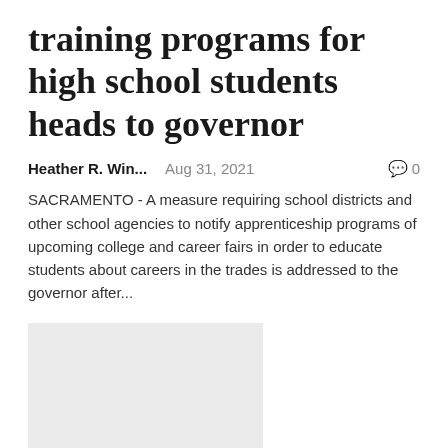training programs for high school students heads to governor
Heather R. Win...   Aug 31, 2021   0
SACRAMENTO - A measure requiring school districts and other school agencies to notify apprenticeship programs of upcoming college and career fairs in order to educate students about careers in the trades is addressed to the governor after...
[Figure (photo): Gray placeholder image for article thumbnail]
Johnson City Commission to